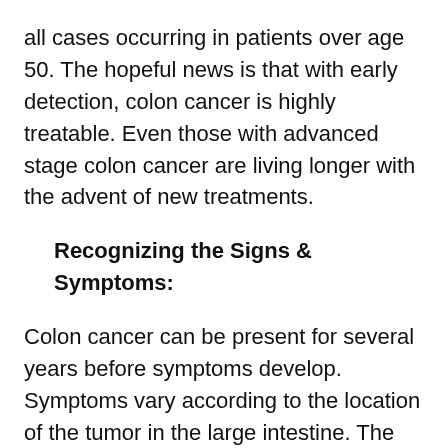all cases occurring in patients over age 50. The hopeful news is that with early detection, colon cancer is highly treatable. Even those with advanced stage colon cancer are living longer with the advent of new treatments.
Recognizing the Signs & Symptoms:
Colon cancer can be present for several years before symptoms develop.  Symptoms vary according to the location of the tumor in the large intestine. The right colon is spacious, and cancers of the right colon can grow to large sizes before they cause any abdominal symptoms. Symptoms of colon cancer can